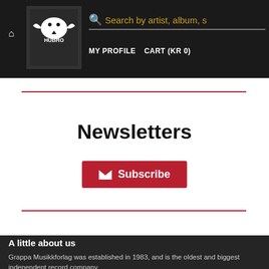Search by artist, album, s | MY PROFILE | CART (KR 0)
Newsletters
Subscribe
A little about us
Grappa Musikkforlag was established in 1983, and is the oldest and biggest independent record company